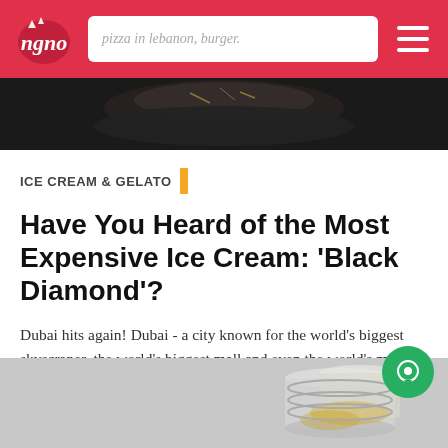pizza in lebanon, burger.
[Figure (photo): Top cropped photo of an ice cream dessert with gold leaf decorations on a dark background]
ICE CREAM & GELATO
Have You Heard of the Most Expensive Ice Cream: 'Black Diamond'?
Dubai hits again! Dubai - a city known for the world's biggest skyscraper, the world's biggest mall and even the world's most expensive cupcake and now the most expensive ice cream scoop...
February 27, 2015 | News
[Figure (photo): Bottom cropped photo showing glass jars with a yellow/golden dessert or drink on a light grey background]